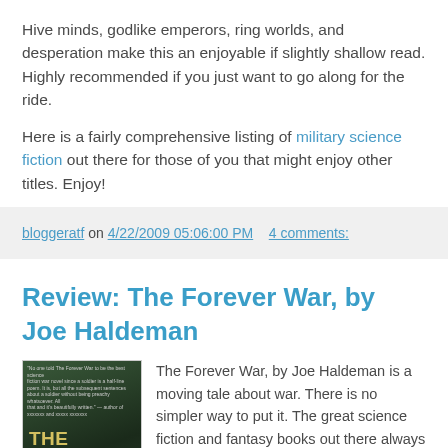Hive minds, godlike emperors, ring worlds, and desperation make this an enjoyable if slightly shallow read. Highly recommended if you just want to go along for the ride.
Here is a fairly comprehensive listing of military science fiction out there for those of you that might enjoy other titles. Enjoy!
bloggeratf on 4/22/2009 05:06:00 PM   4 comments:
Review: The Forever War, by Joe Haldeman
[Figure (photo): Book cover of 'The Forever War' showing dark green tones with a figure in the background and bold yellow text reading 'THE FOREVER WAR']
The Forever War, by Joe Haldeman is a moving tale about war. There is no simpler way to put it. The great science fiction and fantasy books out there always carry a deeper meaning or theme; the better the book the more